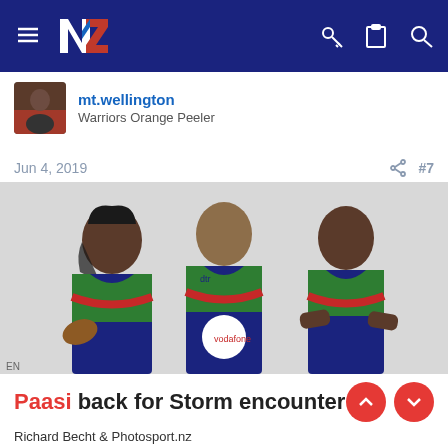NZ Warriors forum navigation bar with hamburger menu, NZ Warriors logo, key, clipboard, and search icons
mt.wellington
Warriors Orange Peeler
Jun 4, 2019  #7
[Figure (photo): Three NZ Warriors rugby league players in full kit (blue, green, red jerseys with Vodafone and dtr sponsors), posed for a promotional photo against a light grey background.]
Paasi back for Storm encounter
Richard Becht & Photosport.nz
Tue 4 Jun 2019, 03:02 PM
Agnatius Paasi returns from a one-match suspension and fellow prop